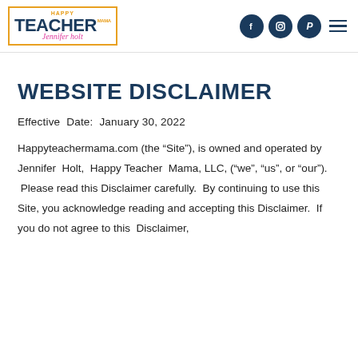[Figure (logo): Happy Teacher Mama logo by Jennifer Holt with orange border box, dark navy TEACHER text, pink cursive signature, and MAMA tag]
[Figure (logo): Social media icons: Facebook, Instagram, Pinterest circles in dark navy, and hamburger menu icon]
WEBSITE DISCLAIMER
Effective  Date:  January 30, 2022
Happyteachermama.com (the “Site”), is owned and operated by Jennifer  Holt,  Happy Teacher  Mama, LLC, (“we”, “us”, or “our”).  Please read this Disclaimer carefully.  By continuing to use this Site, you acknowledge reading and accepting this Disclaimer.  If you do not agree to this  Disclaimer,